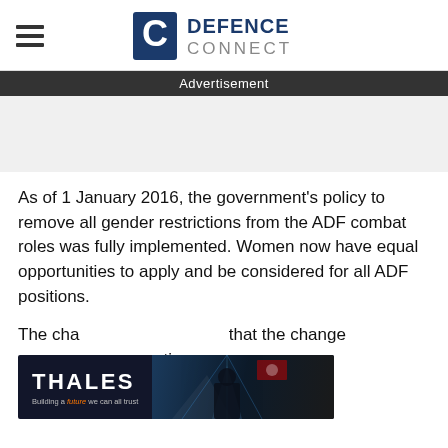DEFENCE CONNECT
Advertisement
As of 1 January 2016, the government's policy to remove all gender restrictions from the ADF combat roles was fully implemented. Women now have equal opportunities to apply and be considered for all ADF positions.
The cha[ir of the committee, Stuart Robert, claimed] that the change[s made the existing Geneva] convention unnecessary.
[Figure (logo): Thales inline advertisement banner with logo and soldier image]